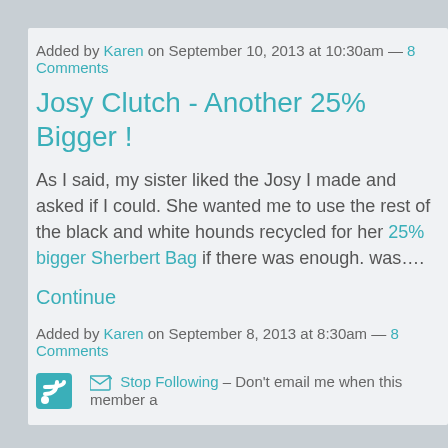Added by Karen on September 10, 2013 at 10:30am — 8 Comments
Josy Clutch - Another 25% Bigger !
As I said, my sister liked the Josy I made and asked if I could. She wanted me to use the rest of the black and white hounds recycled for her 25% bigger Sherbert Bag if there was enough. was….
Continue
Added by Karen on September 8, 2013 at 8:30am — 8 Comments
Stop Following – Don't email me when this member a